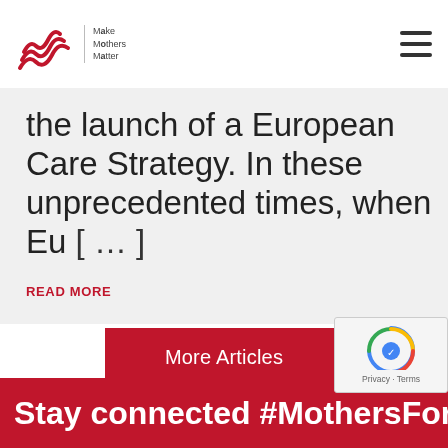Make Mothers Matter
the launch of a European Care Strategy. In these unprecedented times, when Eu […]
READ MORE
More Articles
Stay connected #MothersForBetter